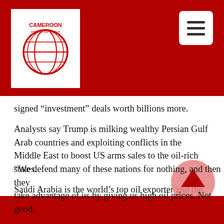[Figure (logo): Cameroon Intelligence Report logo — globe icon on white background with red header bar]
signed “investment” deals worth billions more.
Analysts say Trump is milking wealthy Persian Gulf Arab countries and exploiting conflicts in the Middle East to boost US arms sales to the oil-rich states.
Saudi Arabia is the world’s top oil exporter and the de facto leader of OPEC, which Trump has criticized for high oil prices.
Speaking at the United Nations General Assembly in New York last month, Trump said OPEC members were “as usual ripping off the rest of the world.”
“We defend many of these nations for nothing, and then they take advantage of us by giving us high oil prices. Not good.